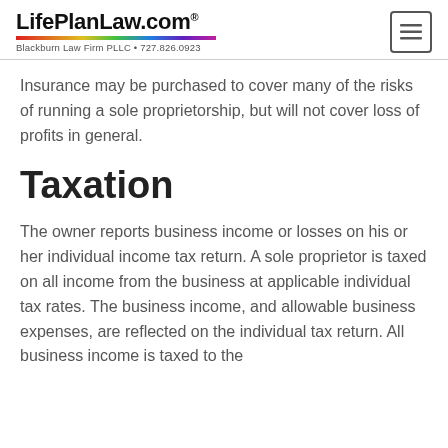LifePlanLaw.com® Blackburn Law Firm PLLC • 727.826.0923
Insurance may be purchased to cover many of the risks of running a sole proprietorship, but will not cover loss of profits in general.
Taxation
The owner reports business income or losses on his or her individual income tax return. A sole proprietor is taxed on all income from the business at applicable individual tax rates. The business income, and allowable business expenses, are reflected on the individual tax return. All business income is taxed to the